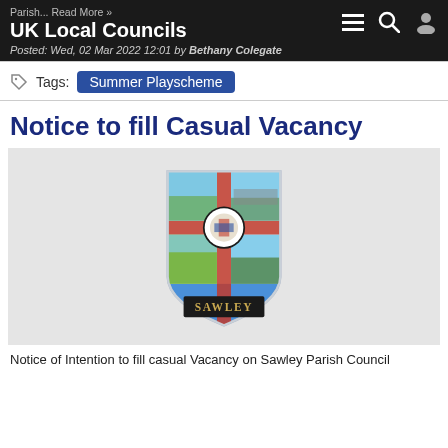Parish... Read More » UK Local Councils
Posted: Wed, 02 Mar 2022 12:01 by Bethany Colegate
Tags: Summer Playscheme
Notice to fill Casual Vacancy
[Figure (illustration): Sawley Parish Council crest/badge showing a shield divided into four quadrants with pastoral scenes (ploughing horses, viaduct, church, road/buildings), a central circular emblem with a coat of arms, blue and red cross design, and a black banner at the bottom reading SAWLEY]
Notice of Intention to fill casual Vacancy on Sawley Parish Council